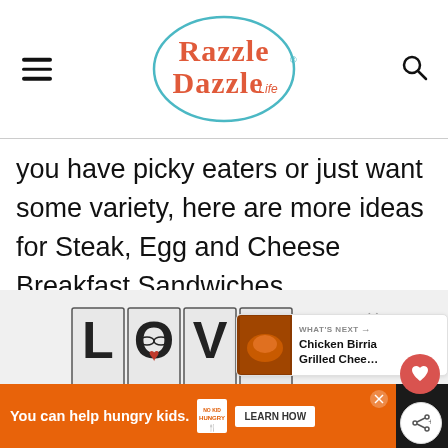Razzle Dazzle Life
you have picky eaters or just want some variety, here are more ideas for Steak, Egg and Cheese Breakfast Sandwiches.
[Figure (illustration): Decorative LOVE text graphic with patterned/collage letters in black and white]
You can help hungry kids. NO KID HUNGRY LEARN HOW